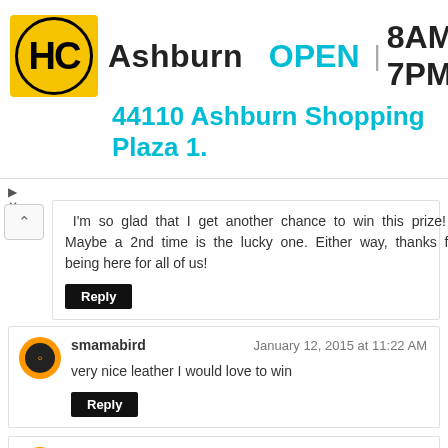[Figure (infographic): Advertisement banner: HC logo (yellow circle with HC text), Ashburn OPEN 8AM-7PM header, 44110 Ashburn Shopping Plaza 1. address in teal, blue navigation diamond icon]
I'm so glad that I get another chance to win this prize! Maybe a 2nd time is the lucky one. Either way, thanks for being here for all of us!
Reply
smamabird
January 12, 2015 at 11:22 AM
very nice leather I would love to win
Reply
nancykamp
January 12, 2015 at 11:25 AM
I'd love to win. Leather is lovely.
Reply